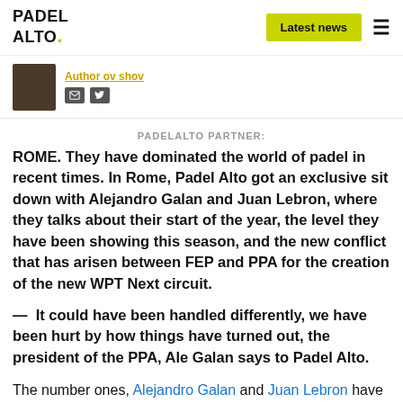PADEL ALTO. | Latest news
[Figure (photo): Author profile photo, dark background]
Author name link and social icons (email, Twitter)
PADELALTO PARTNER:
ROME. They have dominated the world of padel in recent times. In Rome, Padel Alto got an exclusive sit down with Alejandro Galan and Juan Lebron, where they talks about their start of the year, the level they have been showing this season, and the new conflict that has arisen between FEP and PPA for the creation of the new WPT Next circuit.
— It could have been handled differently, we have been hurt by how things have turned out, the president of the PPA, Ale Galan says to Padel Alto.
The number ones, Alejandro Galan and Juan Lebron have been at a great level this season, reaching five finals and taking two titles in seven tournaments. They were only out of the final in the first tournament of the season - the World Padel Tour Miami